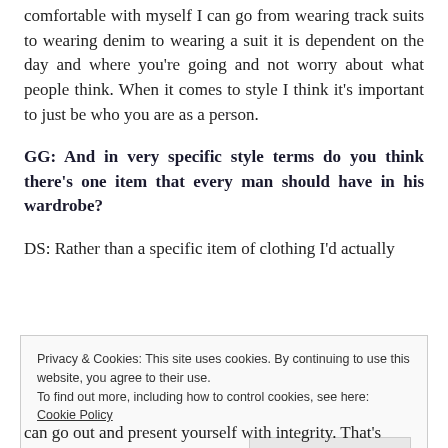comfortable with myself I can go from wearing track suits to wearing denim to wearing a suit it is dependent on the day and where you're going and not worry about what people think. When it comes to style I think it's important to just be who you are as a person.
GG: And in very specific style terms do you think there's one item that every man should have in his wardrobe?
DS: Rather than a specific item of clothing I'd actually
Privacy & Cookies: This site uses cookies. By continuing to use this website, you agree to their use.
To find out more, including how to control cookies, see here: Cookie Policy
Close and accept
can go out and present yourself with integrity. That's